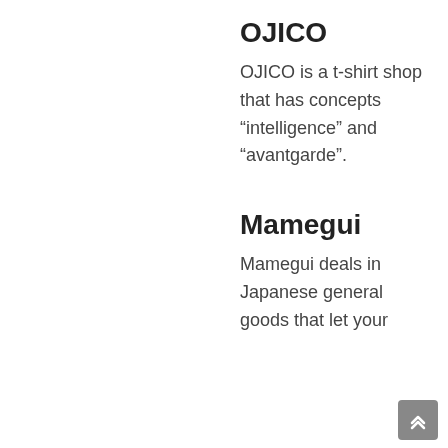OJICO
OJICO is a t-shirt shop that has concepts “intelligence” and “avantgarde”.
Mamegui
Mamegui deals in Japanese general goods that let your